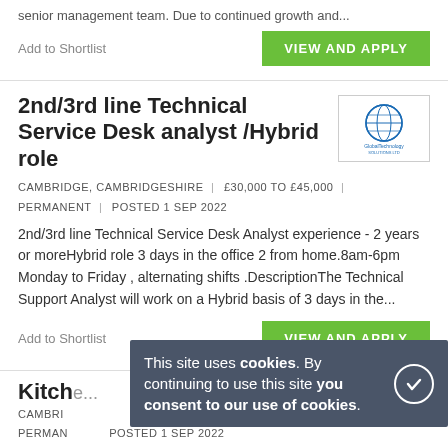senior management team. Due to continued growth and...
Add to Shortlist
VIEW AND APPLY
2nd/3rd line Technical Service Desk analyst /Hybrid role
[Figure (logo): Global Technology Solutions Ltd company logo - blue globe icon with company name text]
CAMBRIDGE, CAMBRIDGESHIRE | £30,000 TO £45,000 | PERMANENT | POSTED 1 SEP 2022
2nd/3rd line Technical Service Desk Analyst experience - 2 years or moreHybrid role 3 days in the office 2 from home.8am-6pm Monday to Friday , alternating shifts .DescriptionThe Technical Support Analyst will work on a Hybrid basis of 3 days in the...
Add to Shortlist
VIEW AND APPLY
Kitch...
CAMBRIDGE, CAMBRIDGESHIRE | £11 PER HOUR | PERMANENT | POSTED 1 SEP 2022
Role: Kitchen Porter Location: Cambridge Hourly Rate: £11ph + Day...
This site uses cookies. By continuing to use this site you consent to our use of cookies.